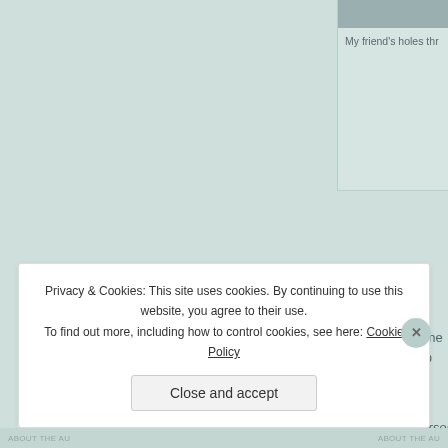[Figure (photo): Partial thumbnail image visible at top right, cropped]
My friend's holes thr
The insides of the book? That's up family story, a children's story, dra share some favorite poems, or lea
Natasha Henderson, Montreal
Privacy & Cookies: This site uses cookies. By continuing to use this website, you agree to their use.
To find out more, including how to control cookies, see here: Cookie Policy
Close and accept